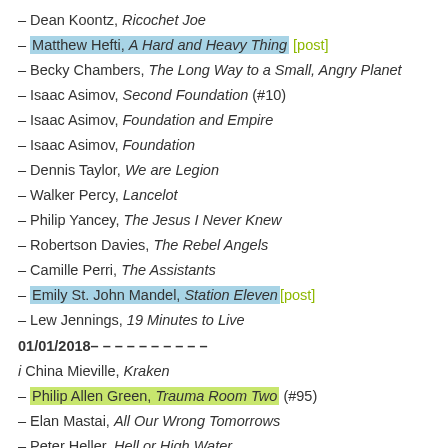– Dean Koontz, Ricochet Joe
– Matthew Hefti, A Hard and Heavy Thing [post]
– Becky Chambers, The Long Way to a Small, Angry Planet
– Isaac Asimov, Second Foundation (#10)
– Isaac Asimov, Foundation and Empire
– Isaac Asimov, Foundation
– Dennis Taylor, We are Legion
– Walker Percy, Lancelot
– Philip Yancey, The Jesus I Never Knew
– Robertson Davies, The Rebel Angels
– Camille Perri, The Assistants
– Emily St. John Mandel, Station Eleven [post]
– Lew Jennings, 19 Minutes to Live
01/01/2018– – – – – – – – – –
i China Mieville, Kraken
– Philip Allen Green, Trauma Room Two (#95)
– Elan Mastai, All Our Wrong Tomorrows
– Peter Heller, Hell or High Water
– Neil Gaiman, Norse Mythology